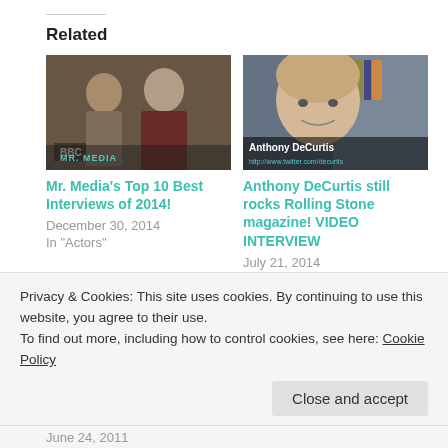Related
[Figure (photo): Photo thumbnail of two women, one in a patterned dress and one in a dark red jacket, BBC logo visible at bottom left]
Mr. Media's Top 10 Best Interviews of 2014!
December 30, 2014
In "Actors"
[Figure (photo): Photo thumbnail of Anthony DeCurtis, a bald man smiling, with name overlay text]
Anthony DeCurtis still rocks Rolling Stone magazine! VIDEO INTERVIEW
July 21, 2014
In "Authors"
[Figure (photo): Dark photo thumbnail partially visible, bottom related article]
Privacy & Cookies: This site uses cookies. By continuing to use this website, you agree to their use.
To find out more, including how to control cookies, see here: Cookie Policy
Close and accept
June 24, 2011